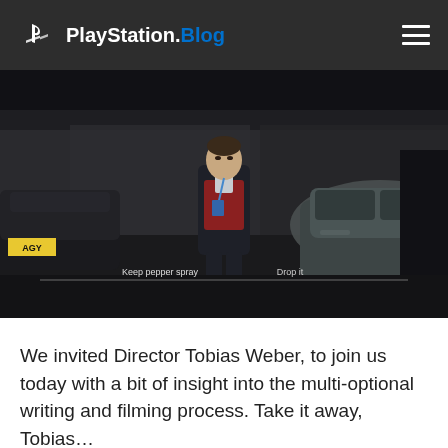PlayStation.Blog
[Figure (screenshot): Game screenshot showing a man in a suit with a red jumper standing in a dark parking garage between two cars. A choice UI overlay at the bottom shows 'Keep pepper spray' and 'Drop it' options.]
We invited Director Tobias Weber, to join us today with a bit of insight into the multi-optional writing and filming process. Take it away, Tobias…
“We started writing Late Shift like a normal film, but